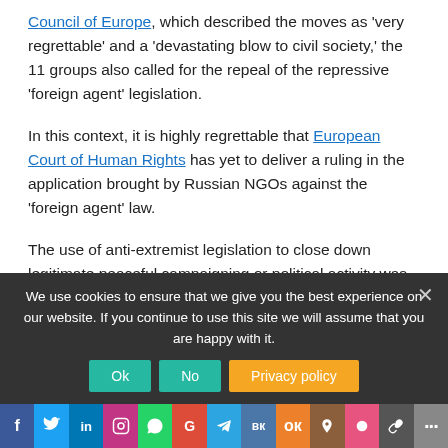Council of Europe, which described the moves as 'very regrettable' and a 'devastating blow to civil society,' the 11 groups also called for the repeal of the repressive 'foreign agent' legislation.
In this context, it is highly regrettable that European Court of Human Rights has yet to deliver a ruling in the application brought by Russian NGOs against the 'foreign agent' law.
The use of anti-extremist legislation to close down legitimate peaceful campaigning or political activity was also in evidence this week as the authorities remanded in custody [link text cut off]
We use cookies to ensure that we give you the best experience on our website. If you continue to use this site we will assume that you are happy with it.